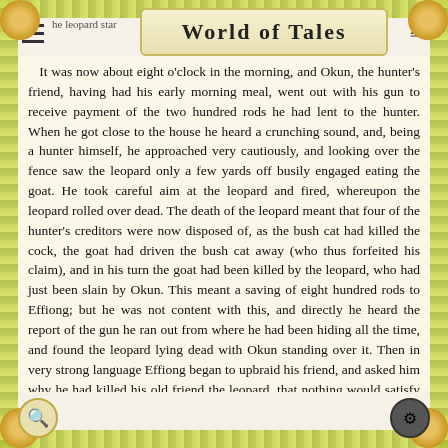World of Tales
It was now about eight o'clock in the morning, and Okun, the hunter's friend, having had his early morning meal, went out with his gun to receive payment of the two hundred rods he had lent to the hunter. When he got close to the house he heard a crunching sound, and, being a hunter himself, he approached very cautiously, and looking over the fence saw the leopard only a few yards off busily engaged eating the goat. He took careful aim at the leopard and fired, whereupon the leopard rolled over dead. The death of the leopard meant that four of the hunter's creditors were now disposed of, as the bush cat had killed the cock, the goat had driven the bush cat away (who thus forfeited his claim), and in his turn the goat had been killed by the leopard, who had just been slain by Okun. This meant a saving of eight hundred rods to Effiong; but he was not content with this, and directly he heard the report of the gun he ran out from where he had been hiding all the time, and found the leopard lying dead with Okun standing over it. Then in very strong language Effiong began to upbraid his friend, and asked him why he had killed his old friend the leopard, that nothing would satisfy him but that he should report the whole matter to the king, who would no doubt deal with him as he thought fit. When Effiong said this Okun frightened, and begged him not to say anything more abou